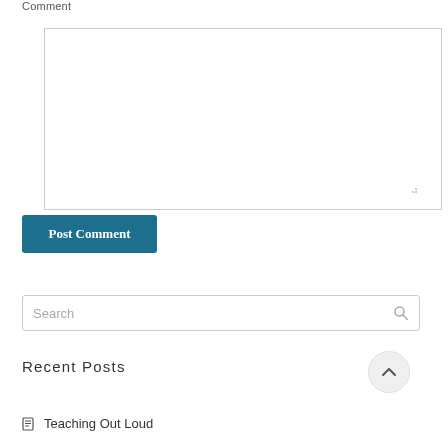Comment
[Figure (screenshot): Empty comment textarea input box with resize handle in bottom-right corner]
Post Comment
[Figure (screenshot): Search input box with placeholder text 'Search' and a magnifying glass icon on the right]
Recent Posts
Teaching Out Loud